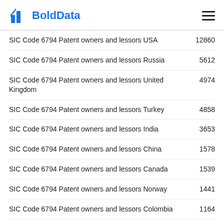BoldData
SIC Code 6794 Patent owners and lessors USA
SIC Code 6794 Patent owners and lessors Russia
SIC Code 6794 Patent owners and lessors United Kingdom
SIC Code 6794 Patent owners and lessors Turkey
SIC Code 6794 Patent owners and lessors India
SIC Code 6794 Patent owners and lessors China
SIC Code 6794 Patent owners and lessors Canada
SIC Code 6794 Patent owners and lessors Norway
SIC Code 6794 Patent owners and lessors Colombia
SIC Code 6794 Patent owners and lessors Brazil
SIC Code 6794 Patent owners and lessors Ukraine